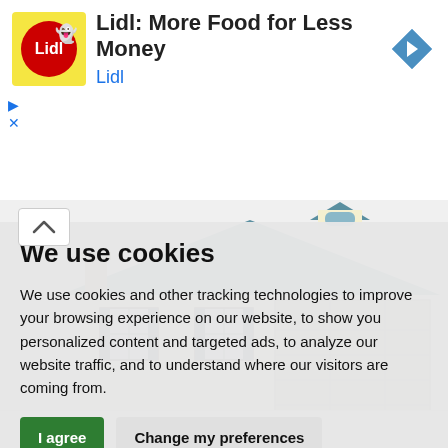[Figure (screenshot): Lidl advertisement banner with logo (yellow background with 'Lidl' text and green ghost icon), title 'Lidl: More Food for Less Money', subtitle 'Lidl', navigation arrow icon, play and close controls]
[Figure (illustration): Illustration of a suburban house with blue roof, yellow siding, dark shutters, multi-pane windows, and a two-car garage]
We use cookies
We use cookies and other tracking technologies to improve your browsing experience on our website, to show you personalized content and targeted ads, to analyze our website traffic, and to understand where our visitors are coming from.
I agree | Change my preferences